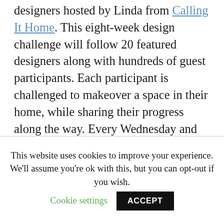designers hosted by Linda from Calling It Home. This eight-week design challenge will follow 20 featured designers along with hundreds of guest participants. Each participant is challenged to makeover a space in their home, while sharing their progress along the way. Every Wednesday and for the next eight weeks, you will be amazed by all of the inspiration and creativity you will find here!
This website uses cookies to improve your experience. We'll assume you're ok with this, but you can opt-out if you wish. Cookie settings ACCEPT